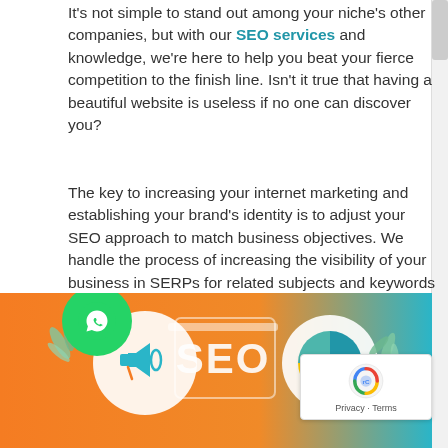It's not simple to stand out among your niche's other companies, but with our SEO services and knowledge, we're here to help you beat your fierce competition to the finish line. Isn't it true that having a beautiful website is useless if no one can discover you?
The key to increasing your internet marketing and establishing your brand's identity is to adjust your SEO approach to match business objectives. We handle the process of increasing the visibility of your business in SERPs for related subjects and keywords in your area.
We're an SEO Company that digs deeper into your target demographic to produce qualified traffic and long-term results, even in the midst of a pandemic.
[Figure (illustration): SEO marketing illustration showing a megaphone, pie chart, and SEO text on an orange background with decorative leaves and circular icons. A green WhatsApp button is overlaid on the left. A reCAPTCHA badge is in the bottom right corner.]